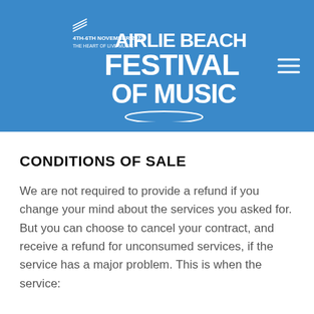[Figure (logo): Airlie Beach Festival of Music logo with text '4th-6th November 2022 The Heart of Live Music' on a blue background header with hamburger menu icon]
CONDITIONS OF SALE
We are not required to provide a refund if you change your mind about the services you asked for. But you can choose to cancel your contract, and receive a refund for unconsumed services, if the service has a major problem. This is when the service: